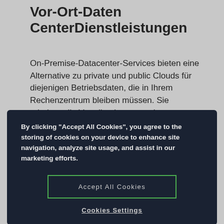Vor-Ort-Daten-CenterDienstleistungen
On-Premise-Datacenter-Services bieten eine Alternative zu private und public Clouds für diejenigen Betriebsdaten, die in Ihrem Rechenzentrum bleiben müssen. Sie erhalten alle Vorteile einer verwalteten Infrastruktur, die in Ihrem eigenen Rechenzentrum gehostet wird.
By clicking "Accept All Cookies", you agree to the storing of cookies on your device to enhance site navigation, analyze site usage, and assist in our marketing efforts.
Accept All Cookies
Cookies Settings
Die SLA-gestützten